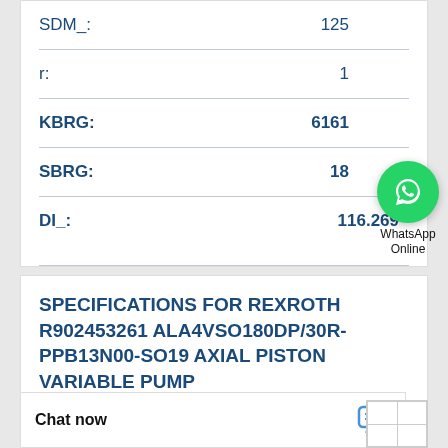| Parameter | Value |
| --- | --- |
| SDM_: | 125 |
| r: | 1 |
| KBRG: | 6161 |
| SBRG: | 18 |
| DI_: | 116.269 |
[Figure (logo): WhatsApp Online chat widget with green phone icon circle and text 'WhatsApp Online']
SPECIFICATIONS FOR REXROTH R902453261 ALA4VSO180DP/30R-PPB13N00-SO19 AXIAL PISTON VARIABLE PUMP
Chat now